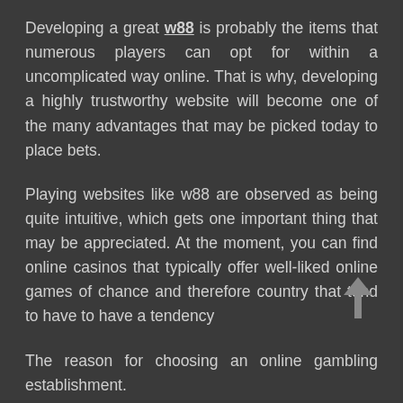Developing a great w88 is probably the items that numerous players can opt for within a uncomplicated way online. That is why, developing a highly trustworthy website will become one of the many advantages that may be picked today to place bets.
Playing websites like w88 are observed as being quite intuitive, which gets one important thing that may be appreciated. At the moment, you can find online casinos that typically offer well-liked online games of chance and therefore country that tend to have to have a tendency
The reason for choosing an online gambling establishment.
One of the many difficulties that could be liked through the internet is putting bets easily. It is